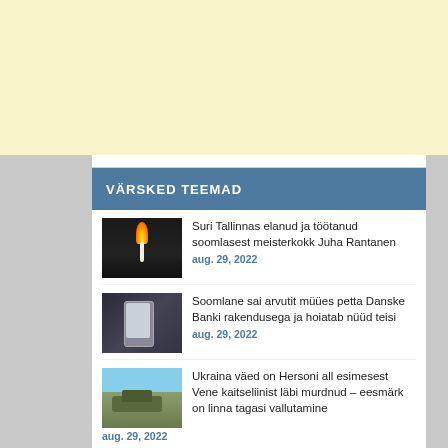[Figure (other): Yellow/cream colored advertisement banner area at the top of the page]
VÄRSKED TEEMAD
[Figure (photo): A lit candle in the dark]
Suri Tallinnas elanud ja töötanud soomlasest meisterkokk Juha Rantanen
aug. 29, 2022
[Figure (photo): A hand holding a phone near what appears to be a bank card or document]
Soomlane sai arvutit müües petta Danske Banki rakendusega ja hoiatab nüüd teisi
aug. 29, 2022
[Figure (photo): Military vehicles or tanks in an outdoor setting]
Ukraina väed on Hersoni all esimesest Vene kaitseliinist läbi murdnud – eesmärk on linna tagasi vallutamine
aug. 29, 2022
[Figure (photo): Partially visible thumbnail image at bottom of list]